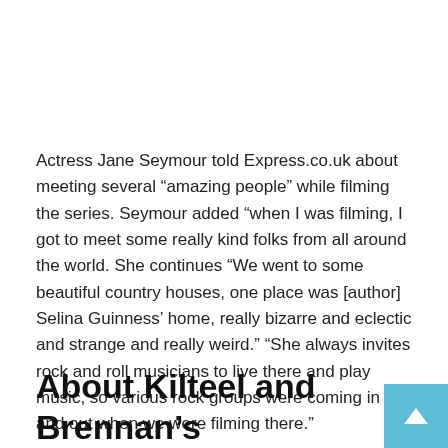Actress Jane Seymour told Express.co.uk about meeting several “amazing people” while filming the series. Seymour added “when I was filming, I got to meet some really kind folks from all around the world. She continues “We went to some beautiful country houses, one place was [author] Selina Guinness’ home, really bizarre and eclectic and strange and really weird.” “She always invites rock and roll musicians to live there and play music, so various rock groups were coming in and out when we were filming there.”
About Kilteel and Brennan’s